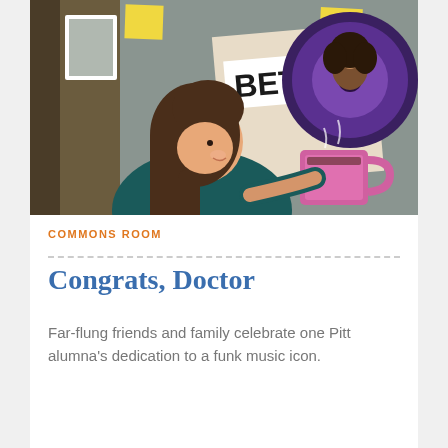[Figure (illustration): Illustration of a cartoon woman with long brown hair sitting at a desk, holding a pink coffee mug, with posters on the wall behind her including one reading 'BETTY' and a vinyl record album cover with a woman's portrait.]
COMMONS ROOM
Congrats, Doctor
Far-flung friends and family celebrate one Pitt alumna's dedication to a funk music icon.